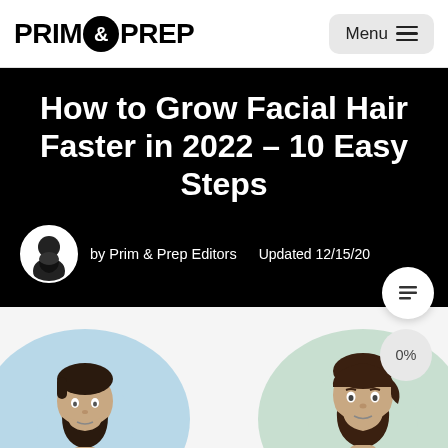PRIM & PREP — Menu
How to Grow Facial Hair Faster in 2022 – 10 Easy Steps
by Prim & Prep Editors   Updated 12/15/20
[Figure (illustration): Two illustrated circular portraits of men with facial hair on light blue and light green backgrounds, partially visible at bottom of page]